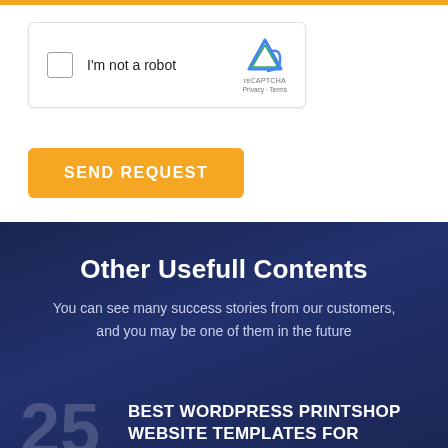[Figure (screenshot): reCAPTCHA widget with checkbox labeled 'I'm not a robot' and reCAPTCHA logo]
SEND REQUEST
Other Usefull Contents
You can see many success stories from our customers, and you may be one of them in the future
25 JULY BEST WORDPRESS PRINTSHOP WEBSITE TEMPLATES FOR